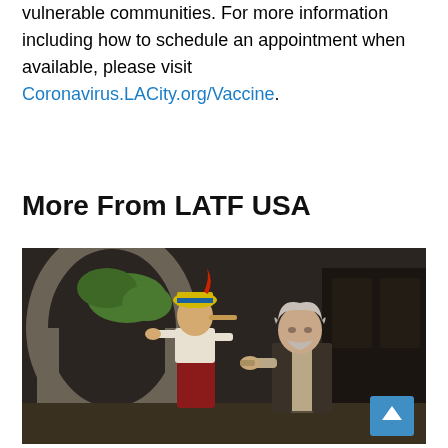vulnerable communities. For more information including how to schedule an appointment when available, please visit Coronavirus.LACity.org/Vaccine.
More From LATF USA
[Figure (photo): Scene from what appears to be a Pinocchio film or production. On the left is a puppet/marionette character wearing a yellow hat with blue stripe and red pants. On the right is an elderly man with grey hair holding something in his hands. Stone arch and greenery visible in background.]